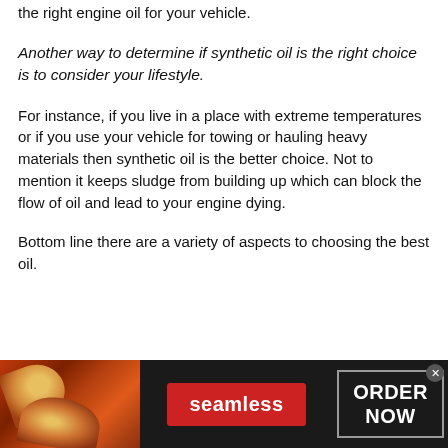the right engine oil for your vehicle.
Another way to determine if synthetic oil is the right choice is to consider your lifestyle.
For instance, if you live in a place with extreme temperatures or if you use your vehicle for towing or hauling heavy materials then synthetic oil is the better choice. Not to mention it keeps sludge from building up which can block the flow of oil and lead to your engine dying.
Bottom line there are a variety of aspects to choosing the best oil.
[Figure (infographic): Advertisement banner for Seamless food delivery with pizza image on the left, a red Seamless button in the middle, and an ORDER NOW box on the right with a close (x) button.]